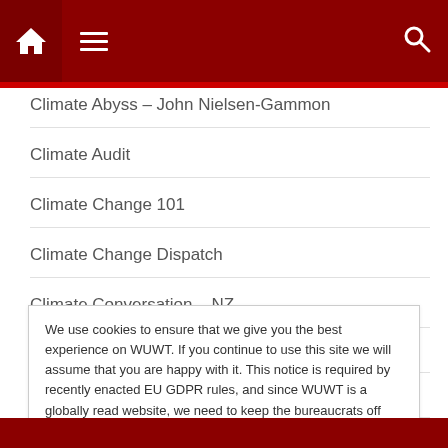Navigation header with home, menu, and search icons
Climate Abyss – John Nielsen-Gammon
Climate Audit
Climate Change 101
Climate Change Dispatch
Climate Conversation – NZ
Climate Debate Daily
Climate Depot
Climate Progress
We use cookies to ensure that we give you the best experience on WUWT. If you continue to use this site we will assume that you are happy with it. This notice is required by recently enacted EU GDPR rules, and since WUWT is a globally read website, we need to keep the bureaucrats off our case! Cookie Policy
Close and accept